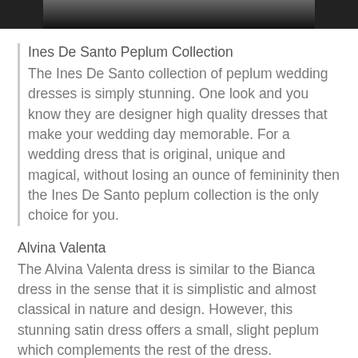[Figure (photo): Dark/black image strip at the top of the page, showing a cropped portion of a photo]
Ines De Santo Peplum Collection
The Ines De Santo collection of peplum wedding dresses is simply stunning. One look and you know they are designer high quality dresses that make your wedding day memorable. For a wedding dress that is original, unique and magical, without losing an ounce of femininity then the Ines De Santo peplum collection is the only choice for you.
Alvina Valenta
The Alvina Valenta dress is similar to the Bianca dress in the sense that it is simplistic and almost classical in nature and design. However, this stunning satin dress offers a small, slight peplum which complements the rest of the dress.
If you want a satin peplum wedding dress that is